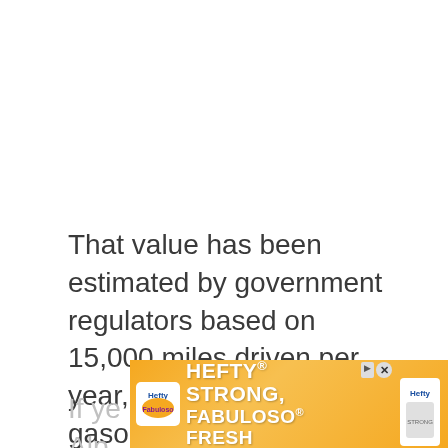That value has been estimated by government regulators based on 15,000 miles driven per year, using regular gasoline, and a split of 55% city driving and 45% highway driving.
If ye... Alp...
[Figure (other): Hefty advertisement banner: HEFTY STRONG, FABULOSO FRESH with orange gradient background, Hefty and Fabuloso logos, close button]